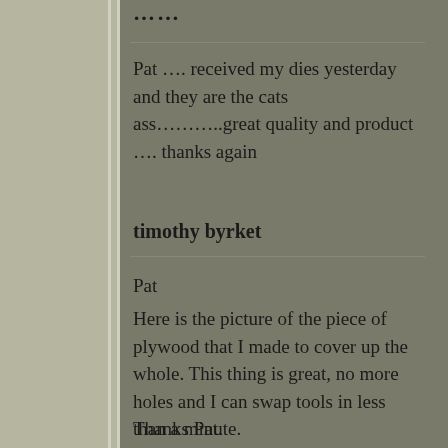Pat …. received my dies yesterday and they are the cats ass………..great quality and product …. thanks again
timothy byrket
Pat

Here is the picture of the piece of plywood that I made to cover up the whole. This thing is great, no more holes and I can swap tools in less than a minute.

Thanks Pat.